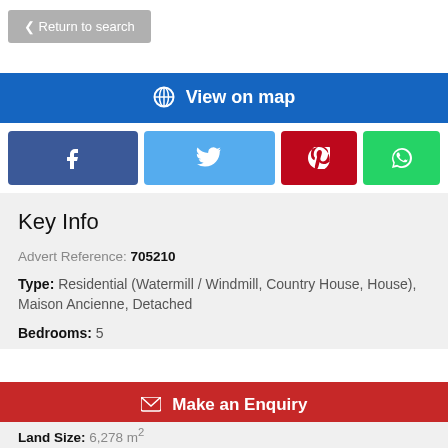Return to search
View on map
[Figure (screenshot): Social share buttons: Facebook, Twitter, Pinterest, WhatsApp]
Key Info
Advert Reference: 705210
Type: Residential (Watermill / Windmill, Country House, House), Maison Ancienne, Detached
Bedrooms: 5
Make an Enquiry
Land Size: 6,278 m²